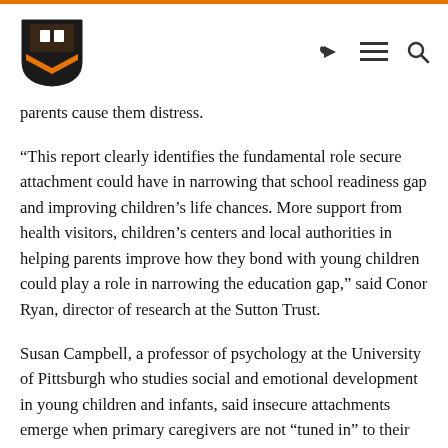Princeton University header with logo
parents cause them distress.
“This report clearly identifies the fundamental role secure attachment could have in narrowing that school readiness gap and improving children’s life chances. More support from health visitors, children’s centers and local authorities in helping parents improve how they bond with young children could play a role in narrowing the education gap,” said Conor Ryan, director of research at the Sutton Trust.
Susan Campbell, a professor of psychology at the University of Pittsburgh who studies social and emotional development in young children and infants, said insecure attachments emerge when primary caregivers are not “tuned in” to their infant’s social signals, especially their cries of distress during infancy.